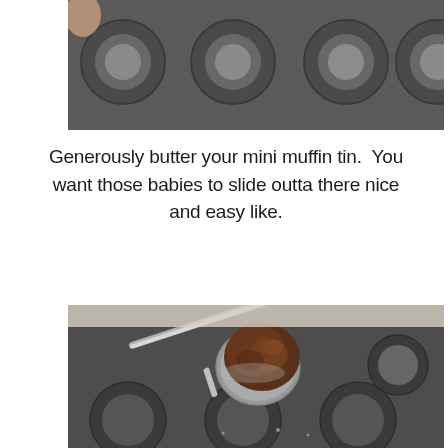[Figure (photo): A mini muffin tin pan with multiple round circular cavities, silver/grey metal, viewed from above. A hand is partially visible at the top left corner.]
Generously butter your mini muffin tin.  You want those babies to slide outta there nice and easy like.
[Figure (photo): A close-up of a cookie scoop/ice cream scoop holding a ball of dark chocolate brownie batter being positioned over a dark mini muffin tin pan with multiple round cavities. The batter is dark brown and textured.]